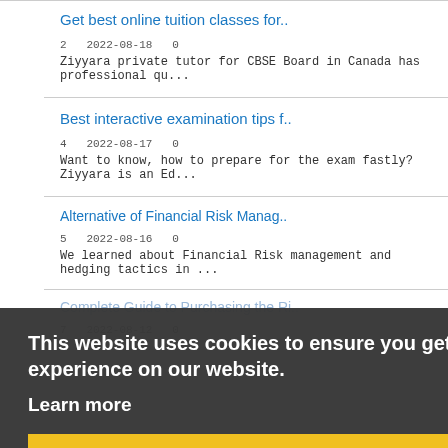Get best online tuition classes for..
2  2022-08-18  0
Ziyyara private tutor for CBSE Board in Canada has professional qu...
Best interactive examination tips f..
4  2022-08-17  0
Want to know, how to prepare for the exam fastly? Ziyyara is an Ed...
Alternative of Financial Risk Manag..
5  2022-08-16  0
We learned about Financial Risk management and hedging tactics in ...
Complete Guide to Purchasing the Ri..
7  2022-08-12  0
This website uses cookies to ensure you get the best experience on our website. Learn more
Got it!